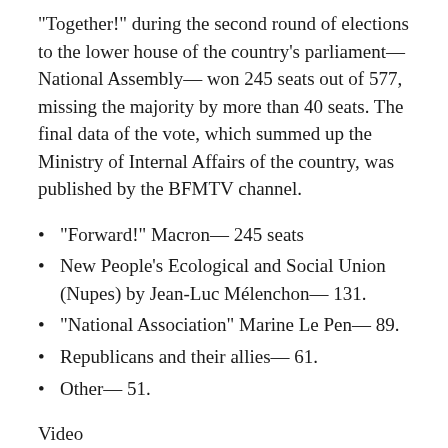“Together!” during the second round of elections to the lower house of the country’s parliament—National Assembly— won 245 seats out of 577, missing the majority by more than 40 seats. The final data of the vote, which summed up the Ministry of Internal Affairs of the country, was published by the BFMTV channel.
“Forward!” Macron— 245 seats
New People’s Ecological and Social Union (Nupes) by Jean-Luc Mélenchon— 131.
“National Association” Marine Le Pen— 89.
Republicans and their allies— 61.
Other— 51.
Video
French Prime Minister Elisabeth Born, commenting on the results of the vote, called them